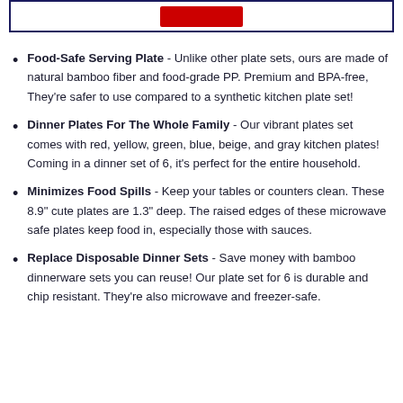[Figure (other): Top banner with red button, bordered by dark navy rectangle]
Food-Safe Serving Plate - Unlike other plate sets, ours are made of natural bamboo fiber and food-grade PP. Premium and BPA-free, They're safer to use compared to a synthetic kitchen plate set!
Dinner Plates For The Whole Family - Our vibrant plates set comes with red, yellow, green, blue, beige, and gray kitchen plates! Coming in a dinner set of 6, it's perfect for the entire household.
Minimizes Food Spills - Keep your tables or counters clean. These 8.9" cute plates are 1.3" deep. The raised edges of these microwave safe plates keep food in, especially those with sauces.
Replace Disposable Dinner Sets - Save money with bamboo dinnerware sets you can reuse! Our plate set for 6 is durable and chip resistant. They're also microwave and freezer-safe.